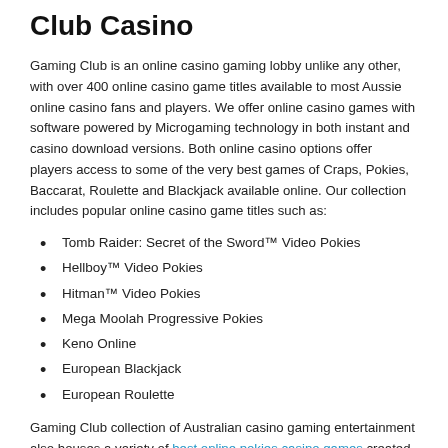Club Casino
Gaming Club is an online casino gaming lobby unlike any other, with over 400 online casino game titles available to most Aussie online casino fans and players. We offer online casino games with software powered by Microgaming technology in both instant and casino download versions. Both online casino options offer players access to some of the very best games of Craps, Pokies, Baccarat, Roulette and Blackjack available online. Our collection includes popular online casino game titles such as:
Tomb Raider: Secret of the Sword™ Video Pokies
Hellboy™ Video Pokies
Hitman™ Video Pokies
Mega Moolah Progressive Pokies
Keno Online
European Blackjack
European Roulette
Gaming Club collection of Australian casino gaming entertainment also houses a variety of best online pokies casino games created specifically for players who like their casino games with an Aussie